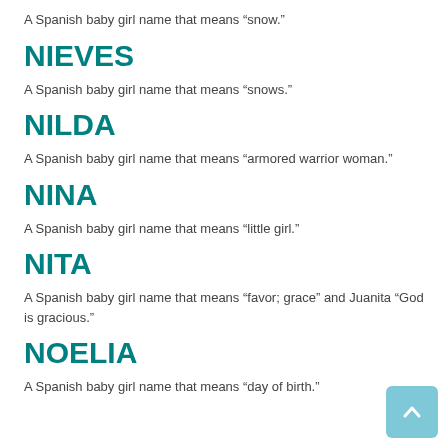A Spanish baby girl name that means “snow.”
NIEVES
A Spanish baby girl name that means “snows.”
NILDA
A Spanish baby girl name that means “armored warrior woman.”
NINA
A Spanish baby girl name that means “little girl.”
NITA
A Spanish baby girl name that means “favor; grace” and Juanita “God is gracious.”
NOELIA
A Spanish baby girl name that means “day of birth.”